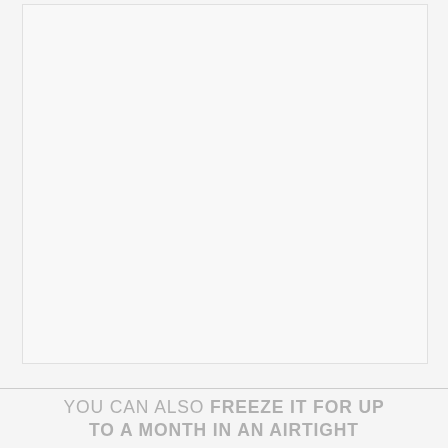[Figure (photo): Large mostly white/blank image area with a light gray background]
YOU CAN ALSO FREEZE IT FOR UP TO A MONTH IN AN AIRTIGHT